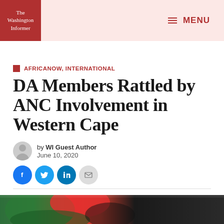The Washington Informer — MENU
AFRICANOW, INTERNATIONAL
DA Members Rattled by ANC Involvement in Western Cape
by WI Guest Author
June 10, 2020
[Figure (photo): Bottom portion of a photo showing colorful fabric or flags, partially visible at the bottom of the page]